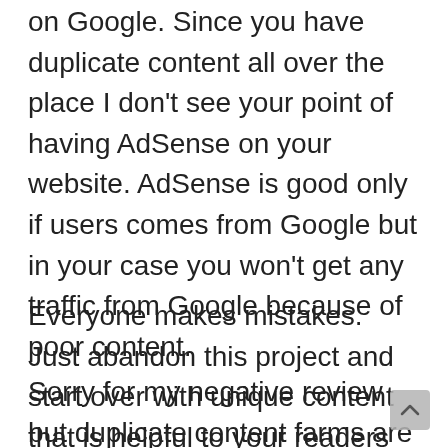on Google. Since you have duplicate content all over the place I don't see your point of having AdSense on your website. AdSense is good only if users comes from Google but in your case you won't get any traffic from Google because of poor content.
Everyone makes mistakes. Just abandon this project and start over with unique content that is helpful to your readers and Google will follow.
Sorry for my negative review but duplicate content farms are not a wa go these days.